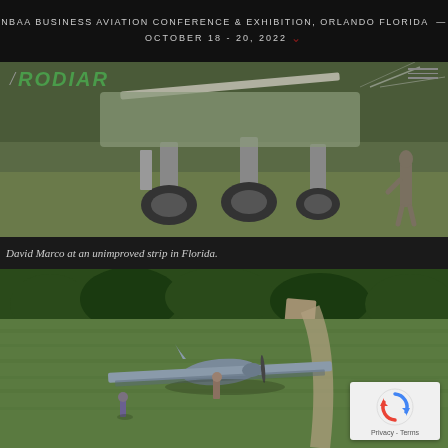NBAA BUSINESS AVIATION CONFERENCE & EXHIBITION, ORLANDO FLORIDA — OCTOBER 18 - 20, 2022
[Figure (photo): Close-up photo of aircraft landing gear / undercarriage on grass field with person standing nearby, RODIAR logo overlaid top-left]
David Marco at an unimproved strip in Florida.
[Figure (photo): Aerial photo of a small aircraft (appears to be a bush plane or utility aircraft) parked on a grass airstrip surrounded by trees, with two people visible on the ground]
[Figure (logo): Google reCAPTCHA badge with Privacy - Terms link]